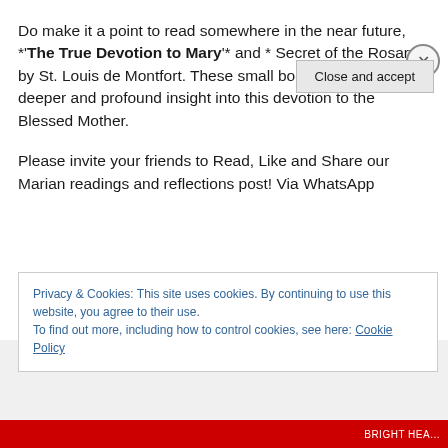Do make it a point to read somewhere in the near future, *'The True Devotion to Mary'* and * Secret of the Rosary * by St. Louis de Montfort. These small books beautifully give deeper and profound insight into this devotion to the Blessed Mother.
Please invite your friends to Read, Like and Share our Marian readings and reflections post! Via WhatsApp
Privacy & Cookies: This site uses cookies. By continuing to use this website, you agree to their use.
To find out more, including how to control cookies, see here: Cookie Policy